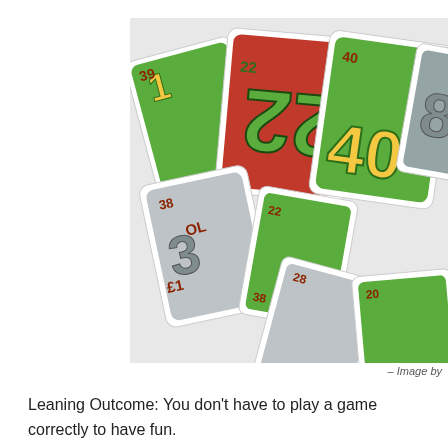[Figure (photo): A spread of colorful board game cards featuring large numbers (22, 38, 40, 28, 20, 39, etc.) with green and red backgrounds, arrows, and small icons, scattered overlapping each other.]
– Image by
Leaning Outcome:  You don't have to play a game correctly to have fun.